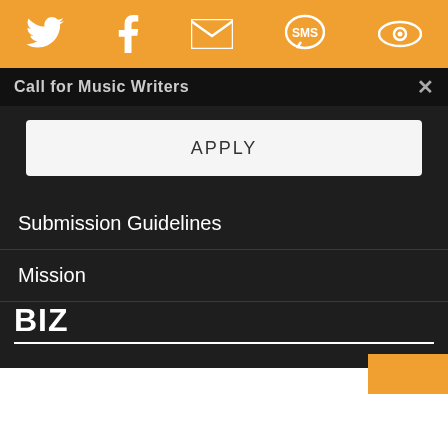[Figure (screenshot): Orange navigation bar with social media icons: Twitter bird, Facebook F, envelope/email, SMS speech bubble, and eye/accessibility icon]
Call for Music Writers
APPLY
Submission Guidelines
Mission
BIZ
Advertising
Privacy Policy